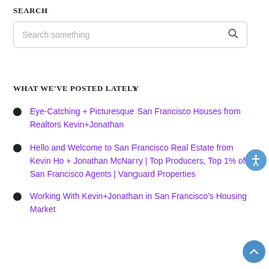SEARCH
[Figure (other): Search input box with placeholder text 'Search something' and a search icon on the right]
WHAT WE'VE POSTED LATELY
Eye-Catching + Picturesque San Francisco Houses from Realtors Kevin+Jonathan
Hello and Welcome to San Francisco Real Estate from Kevin Ho + Jonathan McNarry | Top Producers, Top 1% of San Francisco Agents | Vanguard Properties
Working With Kevin+Jonathan in San Francisco's Housing Market